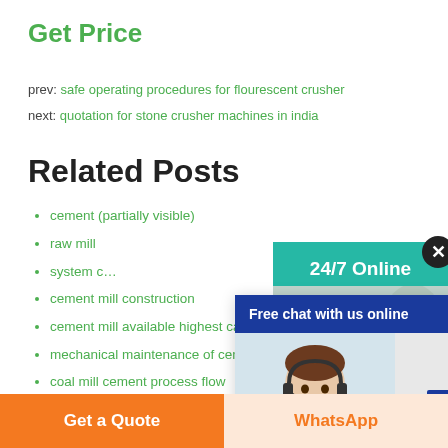Get Price
prev: safe operating procedures for flourescent crusher
next: quotation for stone crusher machines in india
Related Posts
cement (partially obscured)
raw mill (partially obscured)
system c... (partially obscured)
cement mill construction
cement mill available highest capacity
mechanical maintenance of cement grinding
coal mill cement process flow
coal mill of cement plant
[Figure (screenshot): Chat popup overlay with blue header 'Free chat with us online', a customer service representative photo, and a 'CHAT NOW' button]
[Figure (screenshot): 24/7 Online widget on right side with teal background, customer service photo, 'Have any requests, click here.' text, and 'Quotation' button]
Get a Quote
WhatsApp